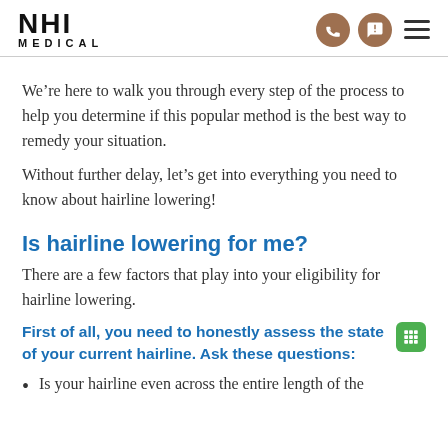NHI MEDICAL
We’re here to walk you through every step of the process to help you determine if this popular method is the best way to remedy your situation.
Without further delay, let’s get into everything you need to know about hairline lowering!
Is hairline lowering for me?
There are a few factors that play into your eligibility for hairline lowering.
First of all, you need to honestly assess the state of your current hairline. Ask these questions:
Is your hairline even across the entire length of the